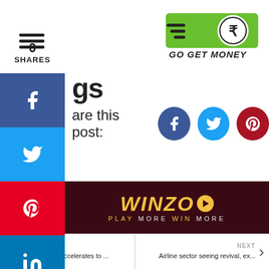[Figure (logo): Go Get Money logo — green swoosh with rupee coin symbol and bold text 'GO GET MONEY']
gs
are this post:
[Figure (infographic): Social share buttons: Facebook (dark blue circle with f icon), Twitter (light blue circle with bird icon), Pinterest (dark red circle with P icon)]
[Figure (screenshot): Winzo advertisement banner — dark red/maroon background with gold italic text 'WINZO' and play button, subtitle 'PLAY MORE WIN MORE']
PREVIOUS: UK inflation fee accelerates to ... | NEXT: Airline sector seeing revival, ex...